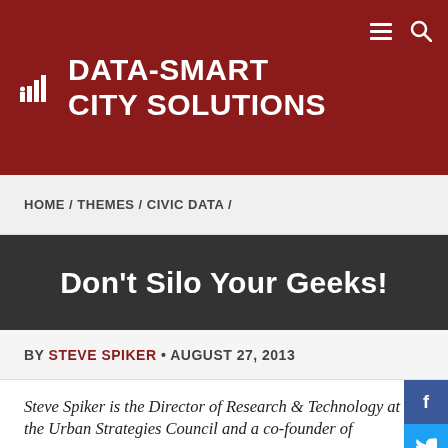DATA-SMART CITY SOLUTIONS
HOME / THEMES / CIVIC DATA /
Don't Silo Your Geeks!
BY STEVE SPIKER • AUGUST 27, 2013
Steve Spiker is the Director of Research & Technology at the Urban Strategies Council and a co-founder of